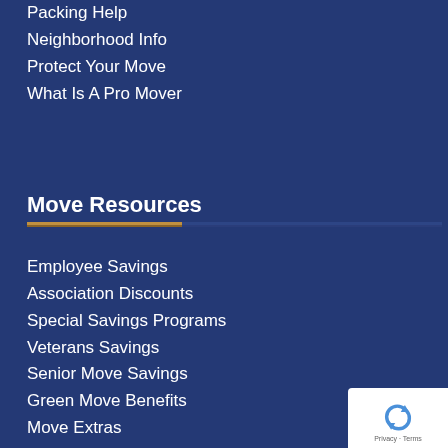Packing Help
Neighborhood Info
Protect Your Move
What Is A Pro Mover
Move Resources
Employee Savings
Association Discounts
Special Savings Programs
Veterans Savings
Senior Move Savings
Green Move Benefits
Move Extras
Moving Discounts
Moving Supplies